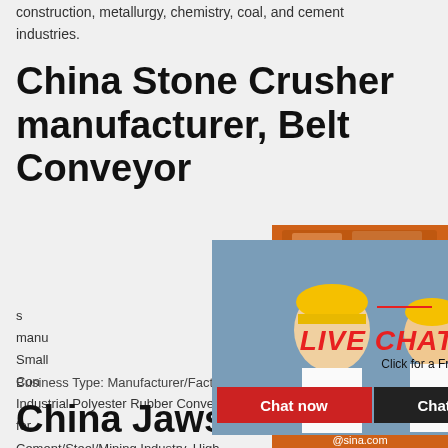construction, metallurgy, chemistry, coal, and cement industries.
China Stone Crusher manufacturer, Belt Conveyor
manufacturer, Small Construction Industrial Polyester Rubber Conveyor Belt for Cement/Steel/Mining Industry, High Reliability Concrete Hollow Block Machine for Construction Projects and so on.
[Figure (photo): Live chat popup overlay with person in yellow hard hat, 'LIVE CHAT' text and 'Click for a Free Consultation', Chat now and Chat later buttons]
[Figure (photo): Orange sidebar with industrial machinery images, Enjoy 3% discount Click to Chat bar, Enquiry section, email limingjlmofen@sina.com]
Business Type: Manufacturer/Factory
China Jaws Crusher, Chi...